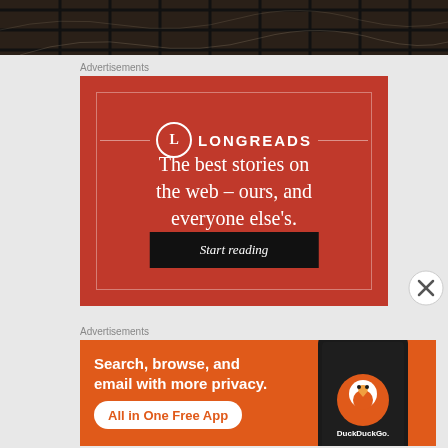[Figure (photo): Top portion of a dark metal wire rack/grill on a dark patterned background, partial view]
Advertisements
[Figure (illustration): Longreads advertisement on red background. Logo circle with L, text: The best stories on the web – ours, and everyone else's. Button: Start reading]
Advertisements
[Figure (illustration): DuckDuckGo advertisement on orange background. Text: Search, browse, and email with more privacy. All in One Free App. Shows a smartphone with DuckDuckGo logo.]